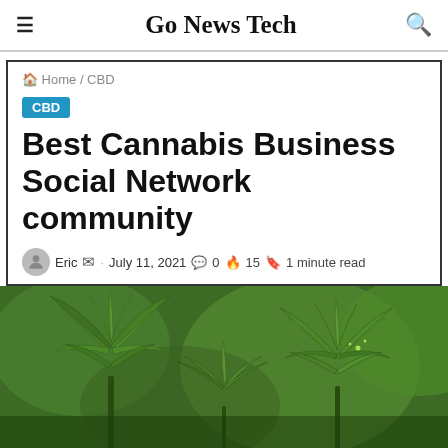Go News Tech
Home / CBD
CBD
Best Cannabis Business Social Network community
Eric · July 11, 2021  0  15  1 minute read
[Figure (photo): Close-up photograph of cannabis/marijuana plants with green leaves against a blurred green background]
Facebook Twitter WhatsApp Telegram Phone